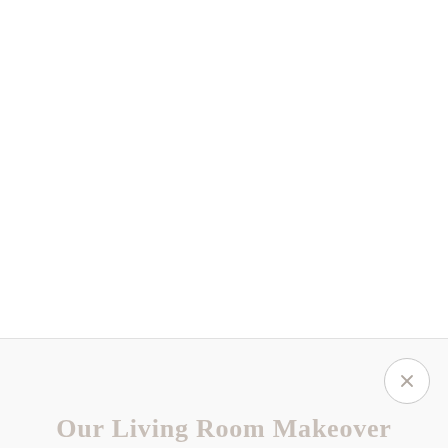[Figure (photo): Large white/blank upper section of a webpage, mostly empty white space above a horizontal divider line.]
[Figure (other): Close/dismiss button (X in a circle) in the lower right area below the divider line.]
Our Living Room Makeover